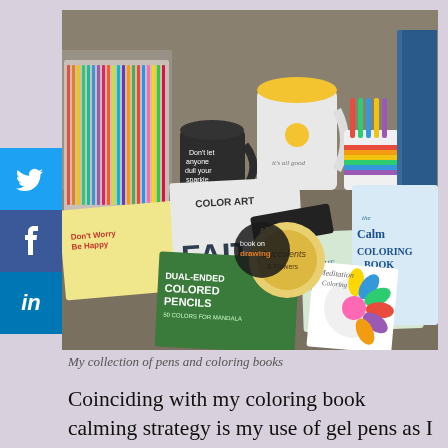[Figure (photo): A collection of colorful gel pens, markers in mugs, and adult coloring books spread on a surface. Books visible include 'Color Art', 'Faith', 'Dual-Ended Colored Pencils', 'The Mindfulness Coloring Book', 'The Calm Coloring Book', 'Meditation Coloring', 'Adult Coloring', and others.]
My collection of pens and coloring books
Coinciding with my coloring book calming strategy is my use of gel pens as I color and practice mindfulness. Again, there is something peaceful about converting the page